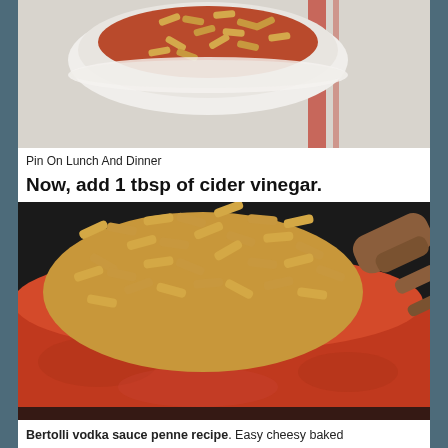[Figure (photo): A white bowl of pasta (penne) with red tomato sauce, placed on a white cloth with a red stripe, photographed from above at an angle.]
Pin On Lunch And Dinner
Now, add 1 tbsp of cider vinegar.
[Figure (photo): A large black skillet/pan filled with penne pasta being stirred into a bright red tomato/vodka sauce, with a wooden spoon on the right side.]
Bertolli vodka sauce penne recipe. Easy cheesy baked